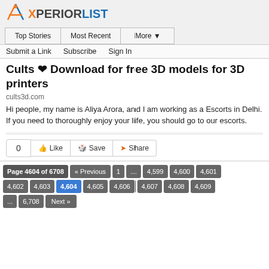[Figure (logo): XperiorList logo with stylized figure icon and text]
Top Stories | Most Recent | More ▼
Submit a Link | Subscribe | Sign In
Cults ❤ Download for free 3D models for 3D printers
cults3d.com
Hi people, my name is Aliya Arora, and I am working as a Escorts in Delhi. If you need to thoroughly enjoy your life, you should go to our escorts.
0  👍 Like  🔖 Save  ➤ Share
Page 4604 of 6708 « Previous 1 ... 4,599 4,600 4,601 4,602 4,603 4,604 4,605 4,606 4,607 4,608 4,609 ... 6,708 Next »